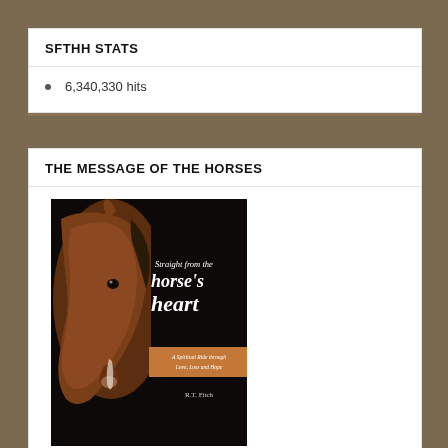SFTHH STATS
6,340,330 hits
THE MESSAGE OF THE HORSES
[Figure (photo): Book cover of 'Straight from the horse's heart – A Spiritual Ride through Love, Loss and Hope' by R.T. Fitch. Dark background with a close-up of a brown horse's face on the left and white italic text on the right.]
Click-on book cover to learn more